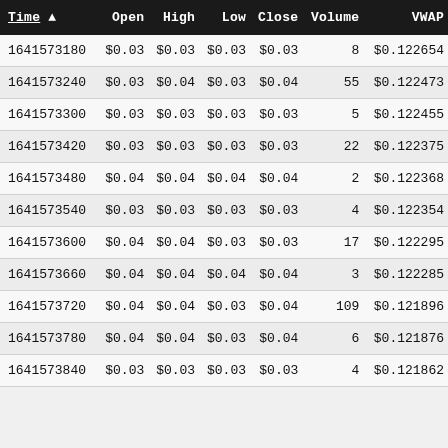| Time ▲ | Open | High | Low | Close | Volume | VWAP |
| --- | --- | --- | --- | --- | --- | --- |
| 1641573180 | $0.03 | $0.03 | $0.03 | $0.03 | 8 | $0.122654 |
| 1641573240 | $0.03 | $0.04 | $0.03 | $0.04 | 55 | $0.122473 |
| 1641573300 | $0.03 | $0.03 | $0.03 | $0.03 | 5 | $0.122455 |
| 1641573420 | $0.03 | $0.03 | $0.03 | $0.03 | 22 | $0.122375 |
| 1641573480 | $0.04 | $0.04 | $0.04 | $0.04 | 2 | $0.122368 |
| 1641573540 | $0.03 | $0.03 | $0.03 | $0.03 | 4 | $0.122354 |
| 1641573600 | $0.04 | $0.04 | $0.03 | $0.03 | 17 | $0.122295 |
| 1641573660 | $0.04 | $0.04 | $0.04 | $0.04 | 3 | $0.122285 |
| 1641573720 | $0.04 | $0.04 | $0.03 | $0.04 | 109 | $0.121896 |
| 1641573780 | $0.04 | $0.04 | $0.03 | $0.04 | 6 | $0.121876 |
| 1641573840 | $0.03 | $0.03 | $0.03 | $0.03 | 4 | $0.121862 |